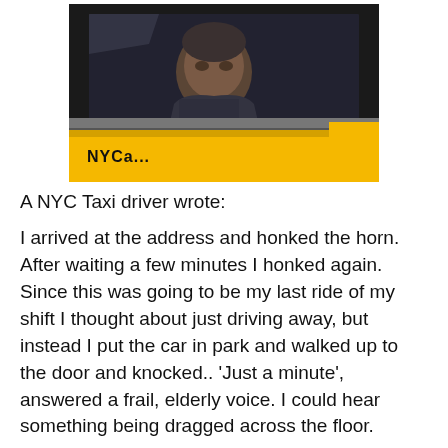[Figure (photo): Elderly woman seen through the window of a yellow NYC taxi cab. The taxi is yellow with 'NYC' visible on the door.]
A NYC Taxi driver wrote:
I arrived at the address and honked the horn. After waiting a few minutes I honked again. Since this was going to be my last ride of my shift I thought about just driving away, but instead I put the car in park and walked up to the door and knocked.. 'Just a minute', answered a frail, elderly voice. I could hear something being dragged across the floor.
After a long pause, the door opened. A small woman in her 90's stood before me. She was wearing a print dress and a pillbox hat with a veil